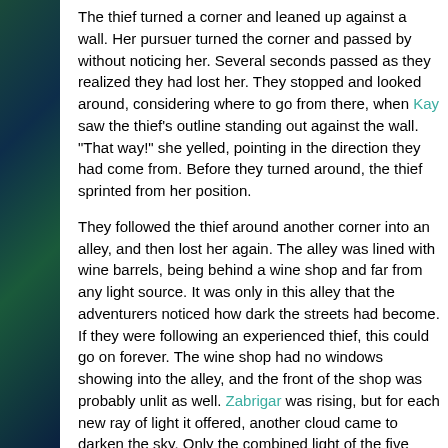[Figure (illustration): Decorative fantasy-themed background on the left margin — teal, green, and dark blue swirling pattern resembling a magical or underwater scene.]
The thief turned a corner and leaned up against a wall. Her pursuer turned the corner and passed by without noticing her. Several seconds passed as they realized they had lost her. They stopped and looked around, considering where to go from there, when Kay saw the thief's outline standing out against the wall. "That way!" she yelled, pointing in the direction they had come from. Before they turned around, the thief sprinted from her position.
They followed the thief around another corner into an alley, and then lost her again. The alley was lined with wine barrels, being behind a wine shop and far from any light source. It was only in this alley that the adventurers noticed how dark the streets had become. If they were following an experienced thief, this could go on forever. The wine shop had no windows showing into the alley, and the front of the shop was probably unlit as well. Zabrigar was rising, but for each new ray of light it offered, another cloud came to darken the sky. Only the combined light of the five moons and the few illuminated buildings was enough to see the ground by.
Even in that darkness, however, it did not take too long for Sahlman to notice blond hair sticking out from behind a barrel. Even the most skilled of thieves make mistakes. Sahl pointed out the hair to the others. Ardith and Ziedon positioned themselves on opposite sides of the barel, while Kay stood back, b... spear.